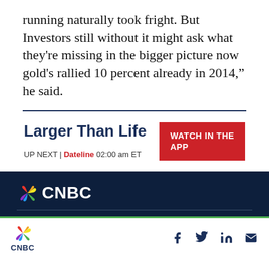running naturally took fright. But Investors still without it might ask what they're missing in the bigger picture now gold's rallied 10 percent already in 2014," he said.
Larger Than Life
[Figure (other): WATCH IN THE APP red button]
UP NEXT | Dateline 02:00 am ET
[Figure (logo): CNBC logo on dark navy footer background]
CNBC logo with social sharing icons: Facebook, Twitter, LinkedIn, Email